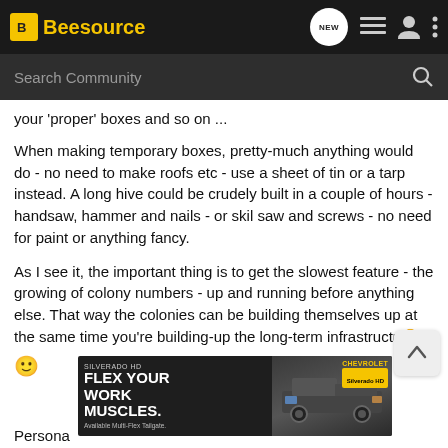Beesource
your 'proper' boxes and so on ...
When making temporary boxes, pretty-much anything would do - no need to make roofs etc - use a sheet of tin or a tarp instead. A long hive could be crudely built in a couple of hours - handsaw, hammer and nails - or skil saw and screws - no need for paint or anything fancy.
As I see it, the important thing is to get the slowest feature - the growing of colony numbers - up and running before anything else. That way the colonies can be building themselves up at the same time you're building-up the long-term infrastructure. 🙂
[Figure (screenshot): Chevrolet Silverado HD advertisement banner: FLEX YOUR WORK MUSCLES. Available Multi-Flex Tailgate. Silverado HD.]
Persona